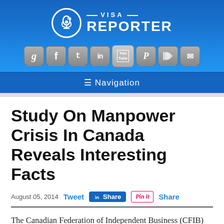[Figure (logo): Visa Reporter logo with microphone icon in white circle, white text on blue gradient background]
[Figure (infographic): Row of social media icon buttons: Google+, Facebook, Twitter, LinkedIn, YouTube, Pinterest, RSS, Email]
≡ Navigation
Study On Manpower Crisis In Canada Reveals Interesting Facts
August 05, 2014  Tweet  Share  Pin it  Share
The Canadian Federation of Independent Business (CFIB) has recently carried out a research to ascertain the actual reasons behind the manpower crisis in certain companies in Canada.